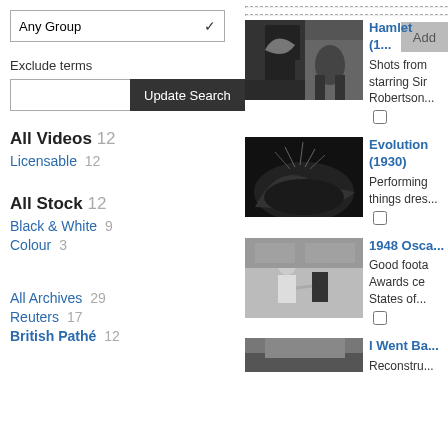Any Group (dropdown)
Exclude terms
Update Search (button)
All Videos 12
Licensable 12
All Stock 12
Black & White 9
Colour 3
All Archives 29
Reuters 17
British Pathé 12
[Figure (photo): Black and white film still showing architectural archway with figures]
Hamlet (1...
Shots from starring Sir Robertson...
[Figure (photo): Black and white film still showing foliage/plants]
Evolution (1930)
Performing things dres...
[Figure (photo): Black and white photo showing two people shaking hands at awards ceremony]
1948 Osca...
Good foota Awards ce States of...
[Figure (photo): Black and white film still, partially visible at bottom]
I Went Ba...
Reconstru...